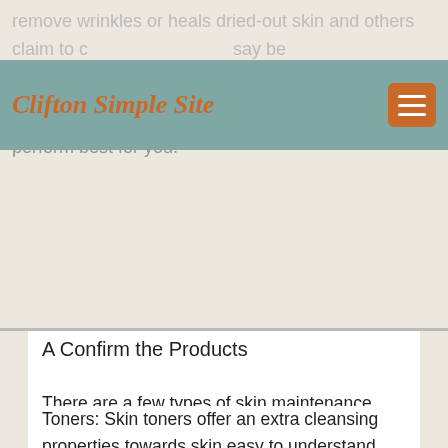remove wrinkles or heals dried-out skin and others claim to c... say be beneficial improve means of the product. Here is a help the basic skin maintenance systems on business and ways to identify which product perform best for you.
Clifton Simple Site
A Confirm the Products
There are a few types of skin maintenance systems that could make a useful additional to the daily natual skin care. These include cleansers, sunscreens, moisturizers, eye creams, toners, exfoliants, retinoids, herbals and skin care supplements.
Toners: Skin toners offer an extra cleansing properties towards skin easy to understand remove oils, dirt and makeup. When your skin has become dry, avoid using toners or use less frequently. These skin care products often contain